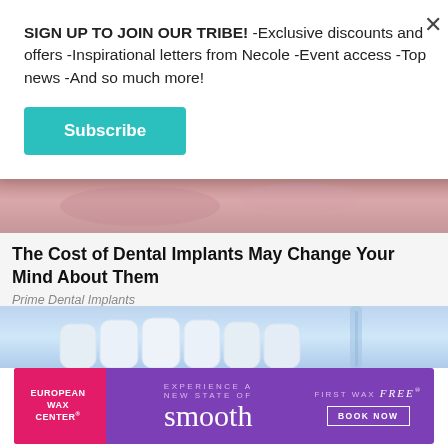SIGN UP TO JOIN OUR TRIBE! -Exclusive discounts and offers -Inspirational letters from Necole -Event access -Top news -And so much more!
Subscribe
[Figure (photo): Close-up of gum tissue, pinkish-red color, dental implant related image]
The Cost of Dental Implants May Change Your Mind About Them
Prime Dental Implants
[Figure (photo): Close-up illustration of dental implant with white teeth model on blue background]
[Figure (photo): European Wax Center advertisement banner — EXPERIENCE A NEW STATE OF smooth — FIRST WAX free — BOOK NOW]